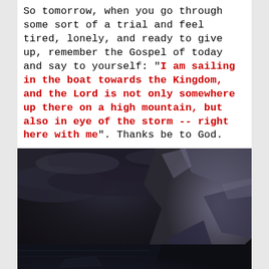So tomorrow, when you go through some sort of a trial and feel tired, lonely, and ready to give up, remember the Gospel of today and say to yourself: "I am sailing in the boat towards the Kingdom, and the Lord is not only somewhere up there on a high mountain, but also in eye of the storm -- right here with me". Thanks be to God.
[Figure (illustration): Dark, dramatic painting of a stormy scene with dark clouds, rocky cliffs, and turbulent water with faint colorful light at the bottom]